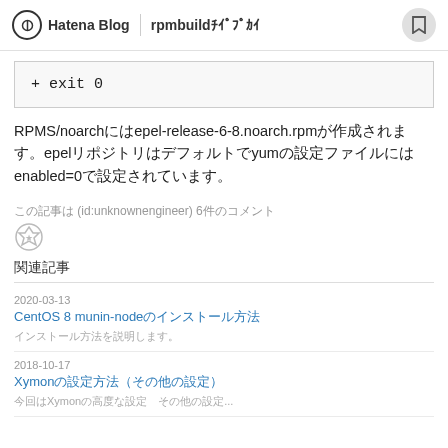Hatena Blog | rpmbuildの使い方
+ exit 0
RPMS/noarchにepel-release-6-8.noarch.rpmが作成されます。epelリポジトリはデフォルトでyumの設定ファイルにenabled=0で設定されています。
この記事は (id:unknownengineer) 6件のコメント
関連記事
2020-03-13
CentOS 8 munin-nodeのインストール
インストール方法を説明します。
2018-10-17
Xymonの設定方法(その他の設定)
今回はXymonの高度な設定 その他の設定...